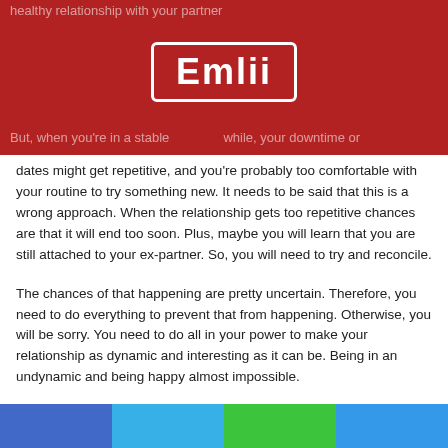healthy relationship with your partner
[Figure (logo): Emlii logo — white text 'Emlii' on dark red background with white rounded rectangle border]
But, when you're in a stable while, your downtime or dates might get repetitive, and you're probably too comfortable with your routine to try something new. It needs to be said that this is a wrong approach. When the relationship gets too repetitive chances are that it will end too soon. Plus, maybe you will learn that you are still attached to your ex-partner. So, you will need to try and reconcile.
The chances of that happening are pretty uncertain. Therefore, you need to do everything to prevent that from happening. Otherwise, you will be sorry. You need to do all in your power to make your relationship as dynamic and interesting as it can be. Being in an undynamic and being happy almost impossible.